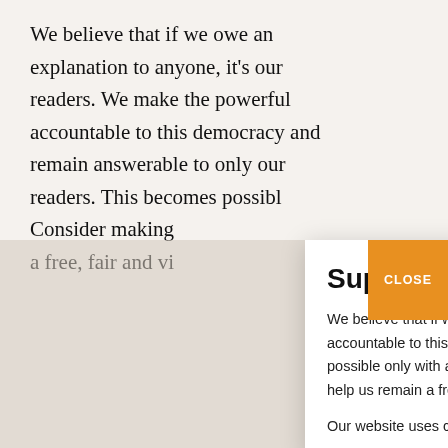We believe that if we owe an explanation to anyone, it's our readers. We make the powerful accountable to this democracy and remain answerable to only our readers. This becomes possibl Consider making a free, fair and vi
Such is my int that appears t Writer Annie Z Mehfil@Prithy runs in her fa Nasta'liq scrip
Support Our Work
We believe that if we owe an explanation to anyone, it's our readers. We make the powerful accountable to this democracy and remain answerable to only our readers. This becomes possible only with a little contribution from you. Consider making a small donation today and help us remain a free, fair and vibrant democracy watchdog.
Our website uses cookies. By closing the pop-up, you consent to our use of cookies.